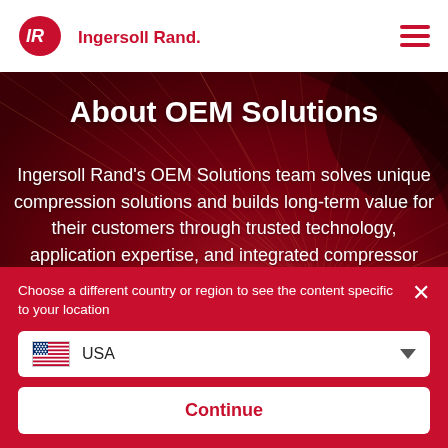[Figure (logo): Ingersoll Rand logo with red IR oval badge and company name in red text]
About OEM Solutions
Ingersoll Rand's OEM Solutions team solves unique compression solutions and builds long-term value for their customers through trusted technology, application expertise, and integrated compressor options.
Choose a different country or region to see the content specific to your location
USA
Continue